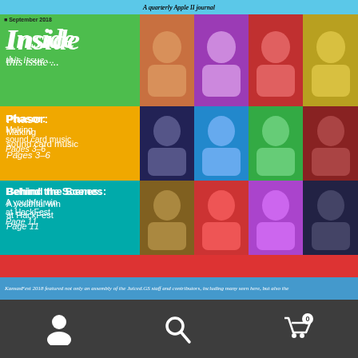A quarterly Apple II journal
September 2018                Volume 23, Issue 3
Inside this issue ...
Phasor: Making sound card music Pages 3–6
Behind the Scenes: A youthful win at HackFest Page 11
Oregon Trail: Running 5K as a carpenter Pages 13–14
64 Objects: A brief history of Apple II gaming Pages 16–17
And much...
KansasFest 2018 featured not only an assembly of the Juiced.GS staff and contributors, including many seen here, but also the
[Figure (photo): Magazine cover of Juiced.GS, a quarterly Apple II journal. September 2018, Volume 23, Issue 3. Shows a colorful grid of portrait photos of contributors arranged in colored rows (green, yellow, teal, red, purple) alongside article previews. Below the magazine cover is a dark navigation bar with person icon, search icon, and shopping cart icon with badge showing 0.]